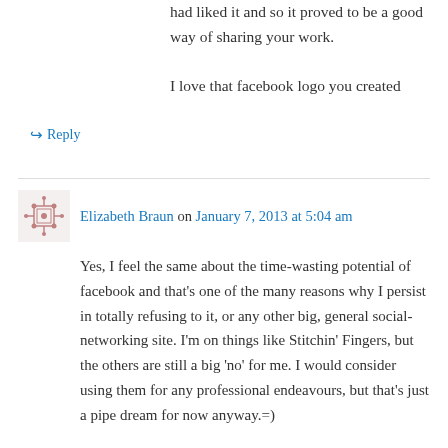had liked it and so it proved to be a good way of sharing your work.

I love that facebook logo you created
↪ Reply
Elizabeth Braun on January 7, 2013 at 5:04 am
Yes, I feel the same about the time-wasting potential of facebook and that's one of the many reasons why I persist in totally refusing to it, or any other big, general social-networking site. I'm on things like Stitchin' Fingers, but the others are still a big 'no' for me. I would consider using them for any professional endeavours, but that's just a pipe dream for now anyway.=)